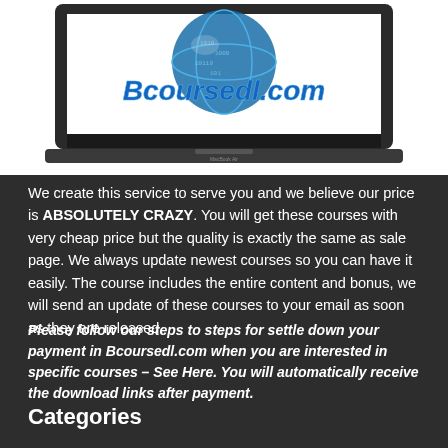[Figure (screenshot): A laptop (MacBook Air) displaying the Bcoursedl.com website logo — blue italic text 'Bcoursedl.com' over a digital globe graphic with binary code.]
We create this service to serve you and we believe our price is ABSOLUTELY CRAZY. You will get these courses with very cheap price but the quality is exactly the same as sale page. We always update newest courses so you can have it easily. The course includes the entire content and bonus, we will send an update of these courses to your email as soon as they are released.
Please follow our steps to steps for settle down your payment in Bcoursedl.com when you are interested in specific courses – See Here. You will automatically receive the download links after payment.
Categories